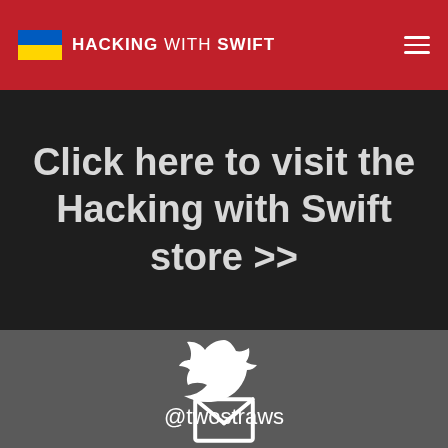HACKING WITH SWIFT
Click here to visit the Hacking with Swift store >>
[Figure (logo): Twitter bird icon (white silhouette)]
@twostraws
[Figure (illustration): Email/envelope icon (white outline), partially visible at bottom]